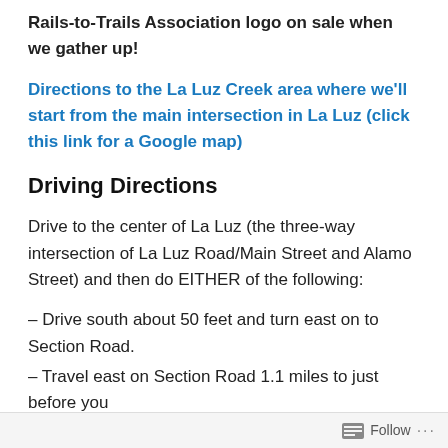Rails-to-Trails Association logo on sale when we gather up!
Directions to the La Luz Creek area where we'll start from the main intersection in La Luz (click this link for a Google map)
Driving Directions
Drive to the center of La Luz (the three-way intersection of La Luz Road/Main Street and Alamo Street) and then do EITHER of the following:
– Drive south about 50 feet and turn east on to Section Road.
– Travel east on Section Road 1.1 miles to just before you
Follow ...